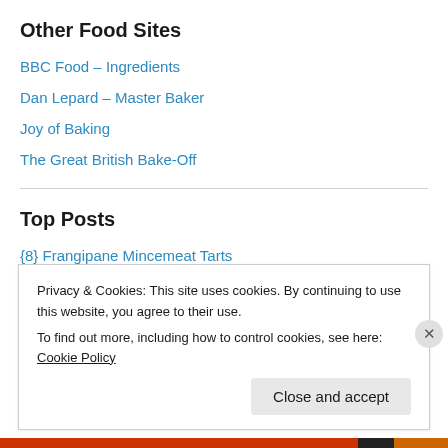Other Food Sites
BBC Food – Ingredients
Dan Lepard – Master Baker
Joy of Baking
The Great British Bake-Off
Top Posts
{8} Frangipane Mincemeat Tarts
What to do with windfall pears?
Scottish food: the famous Ecclefechan Butter Tart
Privacy & Cookies: This site uses cookies. By continuing to use this website, you agree to their use.
To find out more, including how to control cookies, see here: Cookie Policy
Close and accept